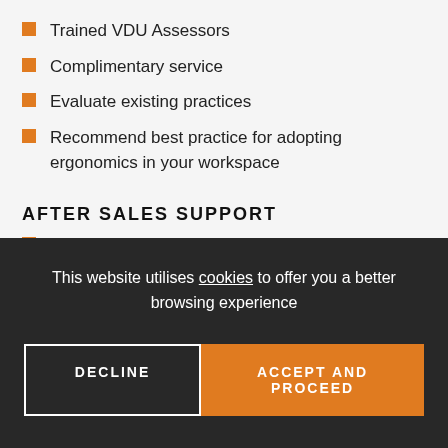Trained VDU Assessors
Complimentary service
Evaluate existing practices
Recommend best practice for adopting ergonomics in your workspace
AFTER SALES SUPPORT
Local support after you establish your new premises
Stocked warehouse to cater to urgent requirements
This website utilises cookies to offer you a better browsing experience
DECLINE
ACCEPT AND PROCEED